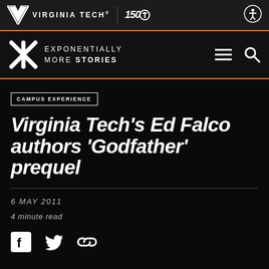VIRGINIA TECH® | 150
EXPONENTIALLY MORE STORIES
CAMPUS EXPERIENCE
Virginia Tech's Ed Falco authors 'Godfather' prequel
6 MAY 2011
4 minute read